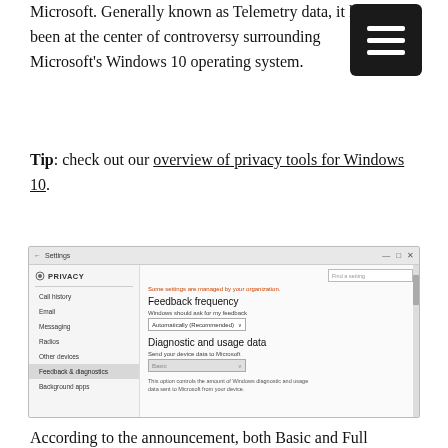Microsoft. Generally known as Telemetry data, it has been at the center of controversy surrounding Microsoft's Windows 10 operating system.
Tip: check out our overview of privacy tools for Windows 10.
[Figure (screenshot): Windows 10 Settings app showing the Privacy > Feedback & diagnostics page. Left sidebar lists: Call history, Email, Messaging, Radios, Other devices, Feedback & diagnostics (selected), Background apps. Right panel shows: a red message 'Some settings are managed by your organization.' then Feedback frequency section with 'Windows should ask for my feedback' dropdown set to 'Automatically (Recommended)', and Diagnostic and usage data section with 'Send your device data to Microsoft' dropdown set to 'Basic' (grayed out), with a note 'This option controls the amount of Windows diagnostic and usage data sent to Microsoft from your device.']
According to the announcement, both Basic and Full